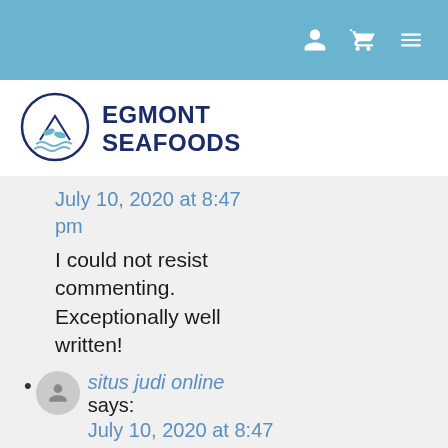Navigation bar with user, cart, and menu icons
[Figure (logo): Egmont Seafoods logo with circular fish emblem]
July 10, 2020 at 8:47 pm
I could not resist commenting. Exceptionally well written!
situs judi online says: July 10, 2020 at 8:47 pm Greetings! Very useful advice within this post!